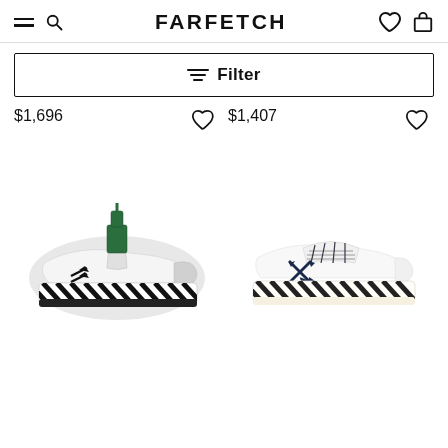FARFETCH
Filter
$1,696
$1,407
[Figure (photo): Off-White low-top sneaker with green zip-tie tag, black arrow logo, and black and white diagonal stripe sole pattern]
[Figure (photo): Off-White white leather low-top sneaker with navy blue arrow cross logo and black and white diagonal stripe sole pattern]